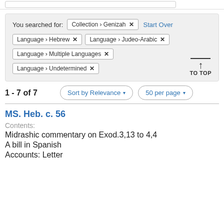You searched for: Collection › Genizah × Start Over Language › Hebrew × Language › Judeo-Arabic × Language › Multiple Languages × Language › Undetermined ×
1 - 7 of 7
Sort by Relevance ▾
50 per page ▾
MS. Heb. c. 56
Contents:
Midrashic commentary on Exod.3,13 to 4,4
A bill in Spanish
Accounts: Letter